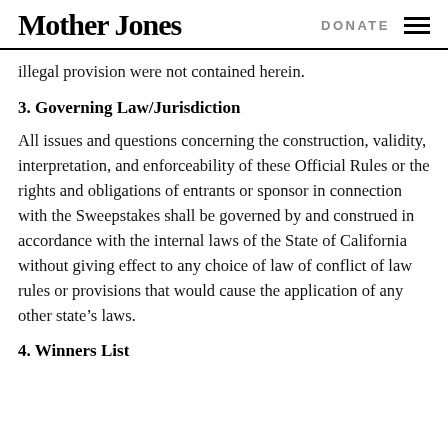Mother Jones | DONATE
illegal provision were not contained herein.
3. Governing Law/Jurisdiction
All issues and questions concerning the construction, validity, interpretation, and enforceability of these Official Rules or the rights and obligations of entrants or sponsor in connection with the Sweepstakes shall be governed by and construed in accordance with the internal laws of the State of California without giving effect to any choice of law of conflict of law rules or provisions that would cause the application of any other state’s laws.
4. Winners List